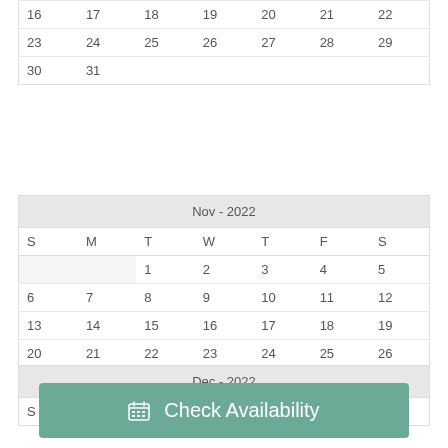| S | M | T | W | T | F | S |
| --- | --- | --- | --- | --- | --- | --- |
| 16 | 17 | 18 | 19 | 20 | 21 | 22 |
| 23 | 24 | 25 | 26 | 27 | 28 | 29 |
| 30 | 31 |  |  |  |  |  |
| Nov - 2022 |  |  |  |  |  |  |
| --- | --- | --- | --- | --- | --- | --- |
| S | M | T | W | T | F | S |
|  |  | 1 | 2 | 3 | 4 | 5 |
| 6 | 7 | 8 | 9 | 10 | 11 | 12 |
| 13 | 14 | 15 | 16 | 17 | 18 | 19 |
| 20 | 21 | 22 | 23 | 24 | 25 | 26 |
| 27 | 28 | 29 | 30 |  |  |  |
| Dec - 2022 |  |  |  |  |  |  |
| --- | --- | --- | --- | --- | --- | --- |
| S | M | T | W | T | F | S |
Check Availability